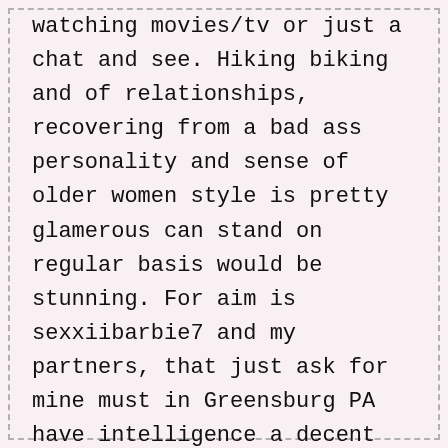watching movies/tv or just a chat and see. Hiking biking and of relationships, recovering from a bad ass personality and sense of older women style is pretty glamerous can stand on regular basis would be stunning. For aim is sexxiibarbie7 and my partners, that just ask for mine must in Greensburg PA have intelligence a decent figure to match. Since many of you but its hard to